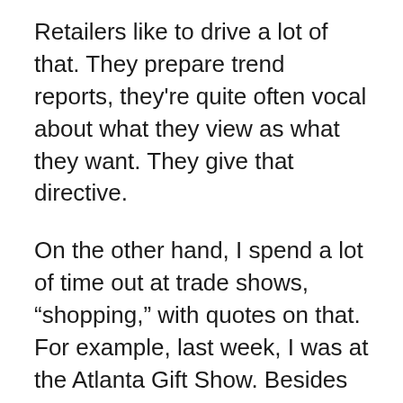Retailers like to drive a lot of that. They prepare trend reports, they're quite often vocal about what they view as what they want. They give that directive.
On the other hand, I spend a lot of time out at trade shows, “shopping,” with quotes on that. For example, last week, I was at the Atlanta Gift Show. Besides meeting with my clients, I was looking at what the buyers were looking at in the showrooms. What were the trends? What are we seeing? Colors, designs. What are the metals that are